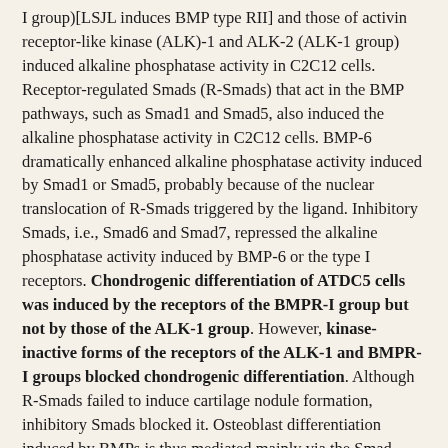I group)[LSJL induces BMP type RII] and those of activin receptor-like kinase (ALK)-1 and ALK-2 (ALK-1 group) induced alkaline phosphatase activity in C2C12 cells. Receptor-regulated Smads (R-Smads) that act in the BMP pathways, such as Smad1 and Smad5, also induced the alkaline phosphatase activity in C2C12 cells. BMP-6 dramatically enhanced alkaline phosphatase activity induced by Smad1 or Smad5, probably because of the nuclear translocation of R-Smads triggered by the ligand. Inhibitory Smads, i.e., Smad6 and Smad7, repressed the alkaline phosphatase activity induced by BMP-6 or the type I receptors. Chondrogenic differentiation of ATDC5 cells was induced by the receptors of the BMPR-I group but not by those of the ALK-1 group. However, kinase-inactive forms of the receptors of the ALK-1 and BMPR-I groups blocked chondrogenic differentiation. Although R-Smads failed to induce cartilage nodule formation, inhibitory Smads blocked it. Osteoblast differentiation induced by BMPs is thus mediated mainly via the Smad-signaling pathway, whereas chondrogenic differentiation may be transmitted by Smad-dependent and independent pathways."
"The lack of ability of ALK-1 and ALK-2 to induce differentiation